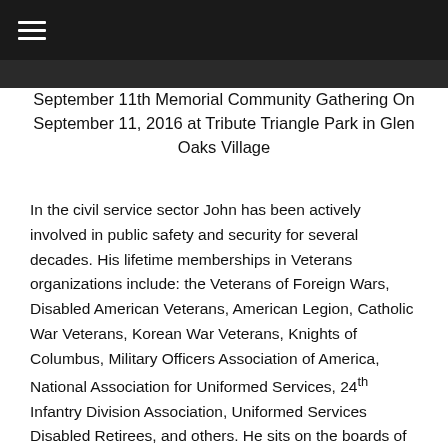≡ (hamburger menu)
[Figure (photo): Dark photo strip showing a community gathering]
September 11th Memorial Community Gathering On September 11, 2016 at Tribute Triangle Park in Glen Oaks Village
In the civil service sector John has been actively involved in public safety and security for several decades. His lifetime memberships in Veterans organizations include: the Veterans of Foreign Wars, Disabled American Veterans, American Legion, Catholic War Veterans, Korean War Veterans, Knights of Columbus, Military Officers Association of America, National Association for Uniformed Services, 24th Infantry Division Association, Uniformed Services Disabled Retirees, and others. He sits on the boards of the 77th Reserve Officers Association at Fort Totten, the Hospice Care Network of Long Island and Queens, and the 307th Infantry Regiment Association at Fort Totten.